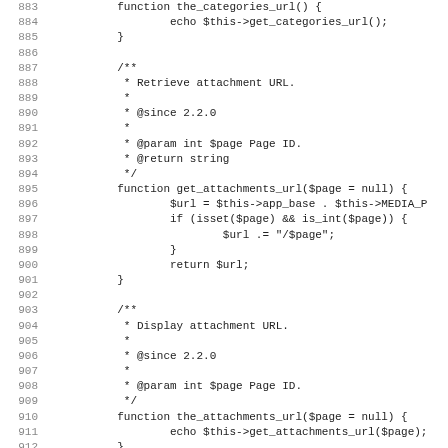[Figure (screenshot): PHP source code listing showing lines 884-915, including functions get_attachments_url() and the_attachments_url() with PHPDoc comments, and the beginning of another function.]